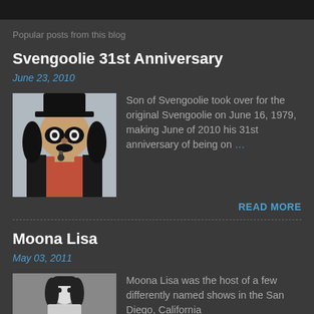Popular posts from this blog
Svengoolie 31st Anniversary
June 23, 2010
[Figure (photo): Photo of Svengoolie character wearing a top hat with dark makeup]
Son of Svengoolie took over for the original Svengoolie on June 16, 1979, making June of 2010 his 31st anniversary of being on …
READ MORE
Moona Lisa
May 03, 2011
[Figure (photo): Black and white photo of Moona Lisa]
Moona Lisa was the host of a few differently named shows in the San Diego, California